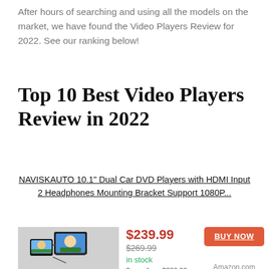After hours of searching and using all the models on the market, we have found the Video Players Review for 2022. See our ranking below!
Top 10 Best Video Players Review in 2022
NAVISKAUTO 10.1" Dual Car DVD Players with HDMI Input 2 Headphones Mounting Bracket Support 1080P...
[Figure (photo): Product photo of NAVISKAUTO 10.1 inch Dual Car DVD Player mounted on headrest with screen showing child image]
$239.99
$269.99
in stock
2 new from $239.99
BUY NOW
Amazon.com